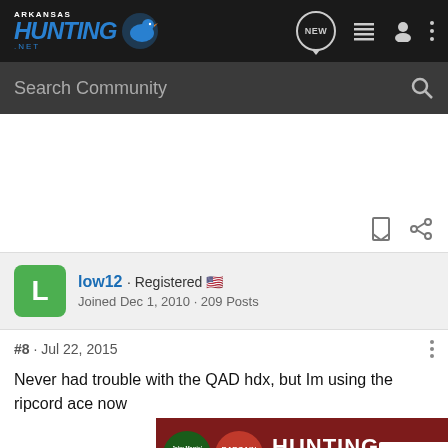Arkansas Hunting .net
Search Community
low12 · Registered
Joined Dec 1, 2010 · 209 Posts
#8 · Jul 22, 2015
Never had trouble with the QAD hdx, but Im using the ripcord ace now
[Figure (screenshot): Bass Pro Shops Bargain Cave Hunting Clearance advertisement banner with Shop Now button]